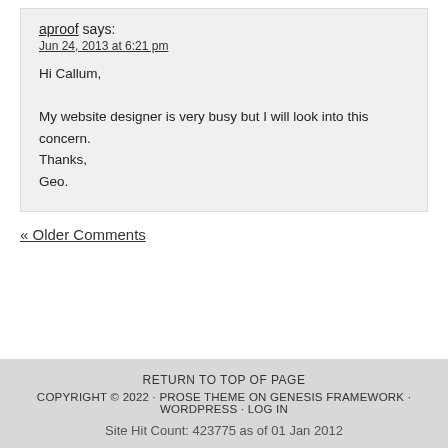aproof says:
Jun 24, 2013 at 6:21 pm
Hi Callum,

My website designer is very busy but I will look into this concern.
Thanks,
Geo.
« Older Comments
RETURN TO TOP OF PAGE
COPYRIGHT © 2022 · PROSE THEME ON GENESIS FRAMEWORK · WORDPRESS · LOG IN
Site Hit Count: 423775 as of 01 Jan 2012